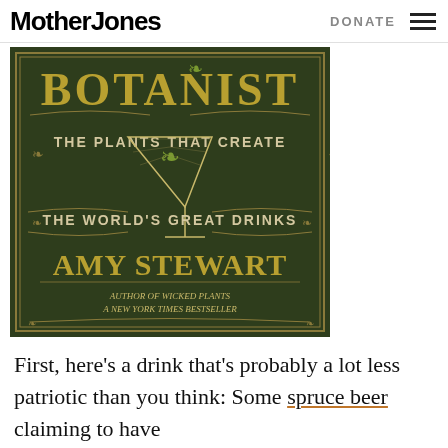Mother Jones | DONATE
[Figure (illustration): Book cover of 'The Drunken Botanist: The Plants That Create The World's Great Drinks' by Amy Stewart, author of Wicked Plants, A New York Times Bestseller. Dark green ornate cover with gold lettering and a martini glass illustration.]
First, here's a drink that's probably a lot less patriotic than you think: Some spruce beer claiming to have